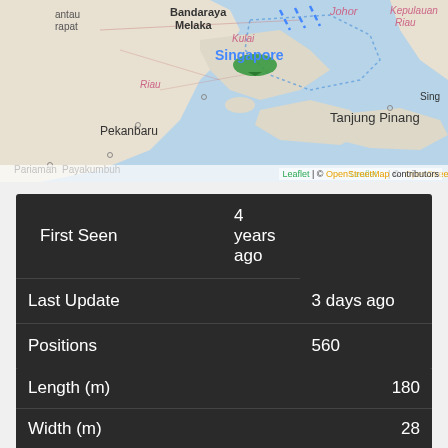[Figure (map): Map showing the Singapore and surrounding region including Bandaraya Melaka, Johor, Kepulauan Riau, Riau, Tanjung Pinang, Pekanbaru, Payakumbuh, Pariaman. A green teardrop marker is visible near Singapore with blue dashed lines indicating a route. Attribution: Leaflet | © OpenStreetMap contributors.]
| Field | Value |
| --- | --- |
| First Seen | 4 years ago |
| Last Update | 3 days ago |
| Positions | 560 |
| Latitude | 1.2684116666666667 |
| Longitude | 104.222275 |
| Field | Value |
| --- | --- |
| Length (m) | 180 |
| Width (m) | 28 |